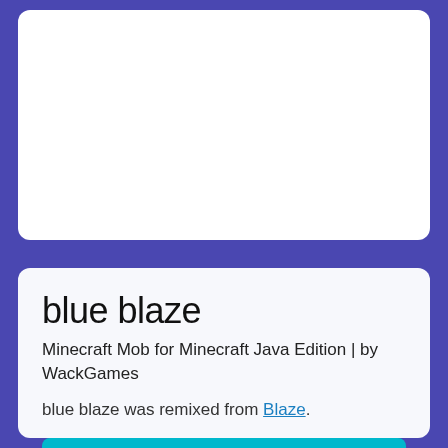[Figure (screenshot): Top card area — white rounded card visible at top of page, partially cut off, with a blank/empty content area]
blue blaze
Minecraft Mob for Minecraft Java Edition | by WackGames
blue blaze was remixed from Blaze.
REMIX MOB
2
884.9k